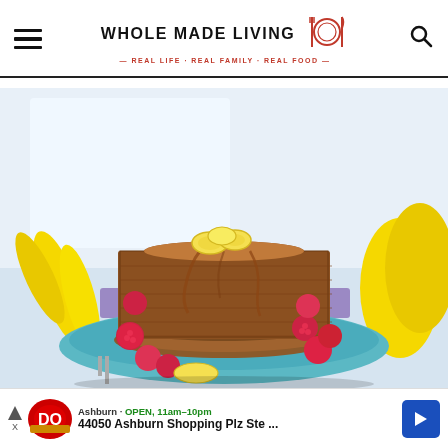WHOLE MADE LIVING — REAL LIFE · REAL FAMILY · REAL FOOD
[Figure (photo): A tall stack of banana oat pancakes topped with banana slices and maple syrup, served on a teal plate surrounded by fresh raspberries, with bananas visible in the background.]
Ashburn · OPEN, 11am–10pm · 44050 Ashburn Shopping Plz Ste ...